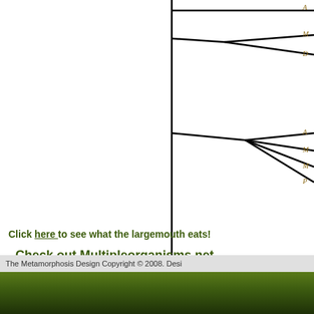[Figure (other): Phylogenetic tree (cladogram) showing evolutionary relationships, partially cropped at top and right edges. Black lines form a branching tree structure on white background with some italic taxon labels visible at right edge.]
Click here to see what the largemouth eats!
Check out Multipleorganisms.net
The Metamorphosis Design Copyright © 2008. Desi...